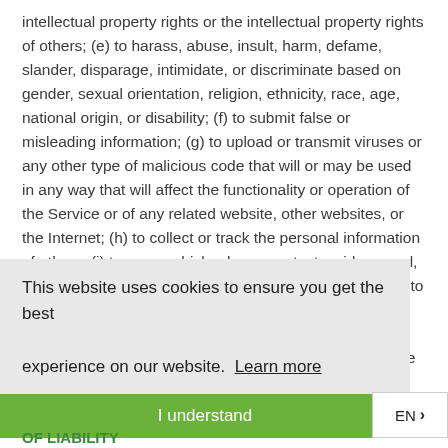intellectual property rights or the intellectual property rights of others; (e) to harass, abuse, insult, harm, defame, slander, disparage, intimidate, or discriminate based on gender, sexual orientation, religion, ethnicity, race, age, national origin, or disability; (f) to submit false or misleading information; (g) to upload or transmit viruses or any other type of malicious code that will or may be used in any way that will affect the functionality or operation of the Service or of any related website, other websites, or the Internet; (h) to collect or track the personal information of others; (i) to spam, phish, pharm, pretext, spider, crawl, or scrape; (j) for any obscene or immoral purpose; or (k) to interfere with or circumvent the security features of the Service or any related website, other websites, or the Internet. We reserve the right to terminate your use of the Service or any related website for violating
This website uses cookies to ensure you get the best experience on our website. Learn more
I understand
OF LIABILITY